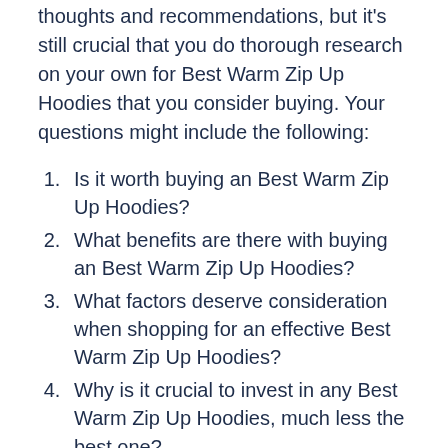thoughts and recommendations, but it's still crucial that you do thorough research on your own for Best Warm Zip Up Hoodies that you consider buying. Your questions might include the following:
Is it worth buying an Best Warm Zip Up Hoodies?
What benefits are there with buying an Best Warm Zip Up Hoodies?
What factors deserve consideration when shopping for an effective Best Warm Zip Up Hoodies?
Why is it crucial to invest in any Best Warm Zip Up Hoodies, much less the best one?
Which Best Warm Zip Up Hoodies are good in the current market?
Where can you find information like this about Best Warm Zip Up Hoodies?
We're convinced that you likely have far more questions than just these regarding Best...